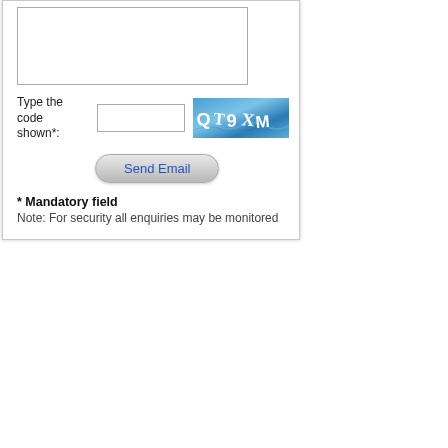[Figure (screenshot): Web form section showing a textarea, CAPTCHA input field with CAPTCHA image (displaying QT9XM), a Send Email button, mandatory field notice, and security note.]
Type the code shown*:
* Mandatory field
Note: For security all enquiries may be monitored